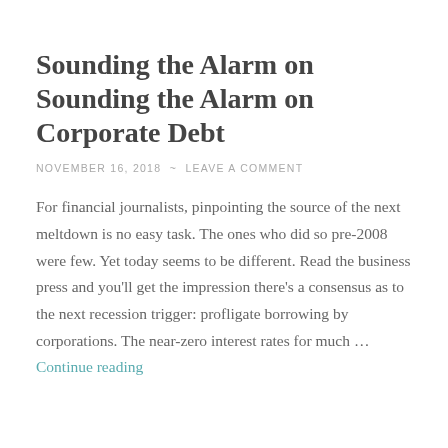Sounding the Alarm on Sounding the Alarm on Corporate Debt
NOVEMBER 16, 2018  ~  LEAVE A COMMENT
For financial journalists, pinpointing the source of the next meltdown is no easy task. The ones who did so pre-2008 were few. Yet today seems to be different. Read the business press and you'll get the impression there's a consensus as to the next recession trigger: profligate borrowing by corporations. The near-zero interest rates for much … Continue reading